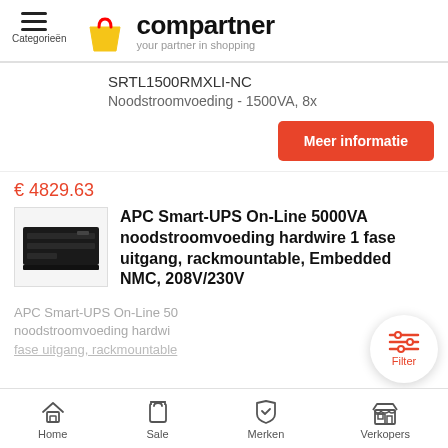compartner — your partner in shopping
SRTL1500RMXLI-NC
Noodstroomvoeding - 1500VA, 8x
Meer informatie
€ 4829.63
APC Smart-UPS On-Line 5000VA noodstroomvoeding hardwire 1 fase uitgang, rackmountable, Embedded NMC, 208V/230V
APC Smart-UPS On-Line 5000VA noodstroomvoeding hardwire 1 fase uitgang, rackmountable,
Home Sale Merken Verkopers